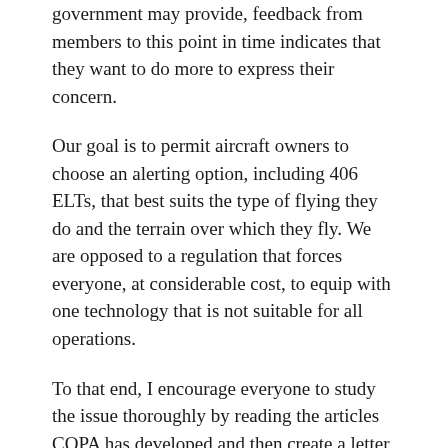government may provide, feedback from members to this point in time indicates that they want to do more to express their concern.
Our goal is to permit aircraft owners to choose an alerting option, including 406 ELTs, that best suits the type of flying they do and the terrain over which they fly. We are opposed to a regulation that forces everyone, at considerable cost, to equip with one technology that is not suitable for all operations.
To that end, I encourage everyone to study the issue thoroughly by reading the articles COPA has developed and then create a letter, based on the sample letter found on our website attached with the Briefing Paper and letter of dissent and send the package to your Member of Parliament. You can find your MP using your postal code http://www2.parl.gc.ca/Parlinfo/Compilations/HouseOfComm or using this list